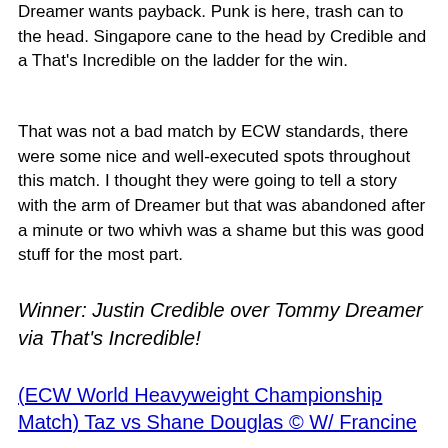Dreamer wants payback. Punk is here, trash can to the head. Singapore cane to the head by Credible and a That's Incredible on the ladder for the win.
That was not a bad match by ECW standards, there were some nice and well-executed spots throughout this match. I thought they were going to tell a story with the arm of Dreamer but that was abandoned after a minute or two whivh was a shame but this was good stuff for the most part.
Winner: Justin Credible over Tommy Dreamer via That's Incredible!
(ECW World Heavyweight Championship Match) Taz vs Shane Douglas © W/ Francine